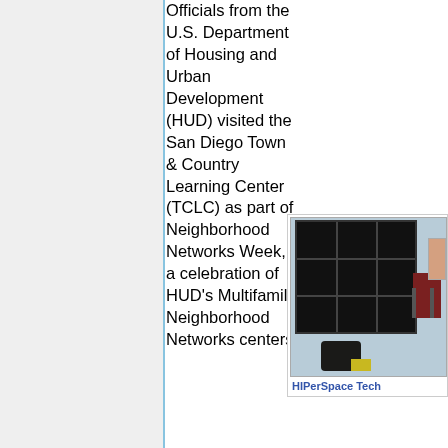Officials from the U.S. Department of Housing and Urban Development (HUD) visited the San Diego Town & Country Learning Center (TCLC) as part of Neighborhood Networks Week, a celebration of HUD's Multifamily Neighborhood Networks centers
[Figure (photo): Photo of a room with a large multi-panel video wall display (dark/black screens arranged in a 3x3 grid) mounted on a light blue wall, with red/brown chairs visible to the right and a bag on the floor.]
HIPerSpace Tech